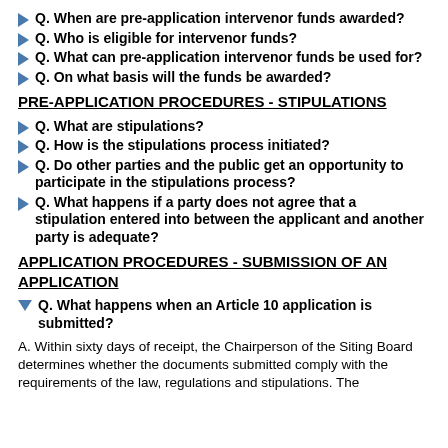Q. When are pre-application intervenor funds awarded?
Q. Who is eligible for intervenor funds?
Q. What can pre-application intervenor funds be used for?
Q. On what basis will the funds be awarded?
PRE-APPLICATION PROCEDURES - STIPULATIONS
Q. What are stipulations?
Q. How is the stipulations process initiated?
Q. Do other parties and the public get an opportunity to participate in the stipulations process?
Q. What happens if a party does not agree that a stipulation entered into between the applicant and another party is adequate?
APPLICATION PROCEDURES - SUBMISSION OF AN APPLICATION
Q. What happens when an Article 10 application is submitted?
A. Within sixty days of receipt, the Chairperson of the Siting Board determines whether the documents submitted comply with the requirements of the law, regulations and stipulations. The